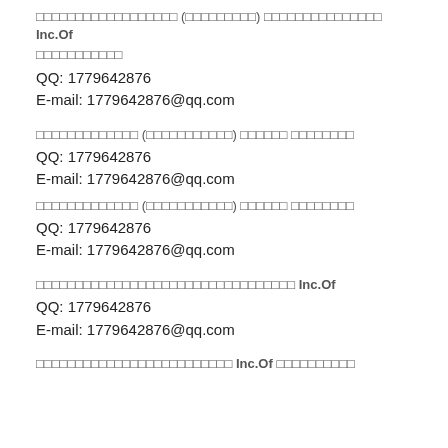□□□□□□□□□□□□□□□□□□ (□□□□□□□□□) □□□□□□□□□□□□□□□ Inc.Of □□□□□□□□□□□
QQ: 1779642876
E-mail: 1779642876@qq.com
□□□□□□□□□□□□□ (□□□□□□□□□□□) □□□□□□ □□□□□□□□
QQ: 1779642876
E-mail: 1779642876@qq.com
□□□□□□□□□□□□□ (□□□□□□□□□□□) □□□□□□ □□□□□□□□
QQ: 1779642876
E-mail: 1779642876@qq.com
□□□□□□□□□□□□□□□□□□□□□□□□□□□□□□□□□ Inc.Of
QQ: 1779642876
E-mail: 1779642876@qq.com
□□□□□□□□□□□□□□□□□□□□□□□□□ Inc.Of □□□□□□□□□□